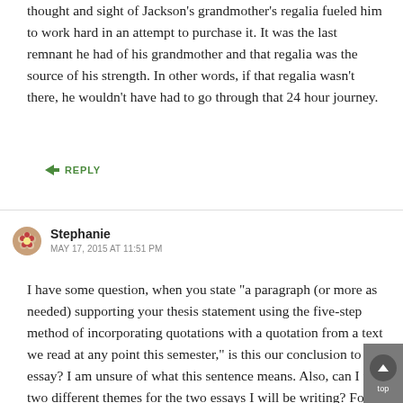thought and sight of Jackson's grandmother's regalia fueled him to work hard in an attempt to purchase it. It was the last remnant he had of his grandmother and that regalia was the source of his strength. In other words, if that regalia wasn't there, he wouldn't have had to go through that 24 hour journey.
↳ REPLY
Stephanie
MAY 17, 2015 AT 11:51 PM
I have some question, when you state "a paragraph (or more as needed) supporting your thesis statement using the five-step method of incorporating quotations with a quotation from a text we read at any point this semester," is this our conclusion to our essay? I am unsure of what this sentence means. Also, can I use two different themes for the two essays I will be writing? For example, can I use